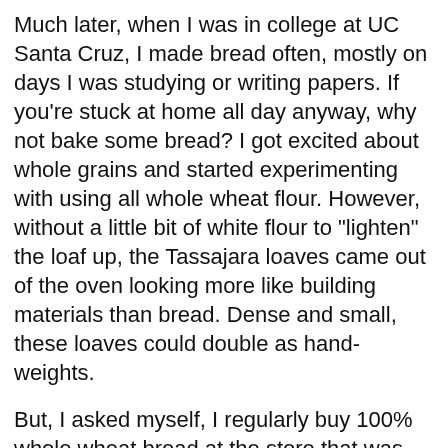Much later, when I was in college at UC Santa Cruz, I made bread often, mostly on days I was studying or writing papers. If you're stuck at home all day anyway, why not bake some bread? I got excited about whole grains and started experimenting with using all whole wheat flour. However, without a little bit of white flour to "lighten" the loaf up, the Tassajara loaves came out of the oven looking more like building materials than bread. Dense and small, these loaves could double as hand-weights.
But, I asked myself, I regularly buy 100% whole wheat bread at the store that was light and fluffy. What am I doing wrong?
So I started experimenting, using more yeast and longer rising time. I stretched the four hour process into a six hour one. Sure enough, a lighter loaf! The longer you let the yeast work, the better your bread will be.
Then I discovered the benefits of elbow grease - kneading your dough vigorously for 25 to 30 minutes results in lighter, prettier loaves. This must be why peasant women always have strong arms (that and carrying buckets of water from